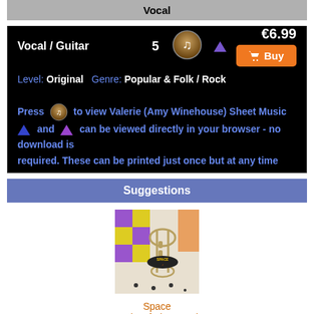Vocal
Vocal / Guitar   5   €6.99   Buy
Level: Original  Genre: Popular & Folk / Rock
Press [icon] to view Valerie (Amy Winehouse) Sheet Music. [triangle] and [triangle] can be viewed directly in your browser - no download is required. These can be printed just once but at any time
Suggestions
[Figure (photo): Album cover showing a trumpet with a 'Space' label, colorful background with tiles]
Space
Female Of The Species